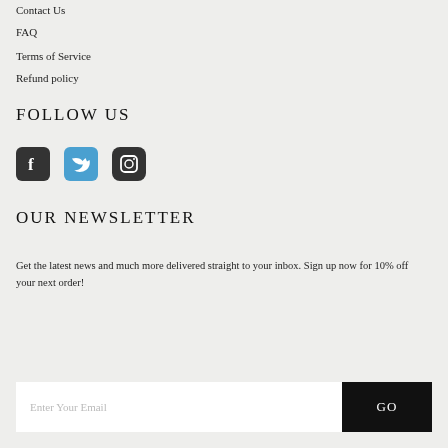Contact Us
FAQ
Terms of Service
Refund policy
FOLLOW US
[Figure (illustration): Three social media icons: Facebook (dark square), Twitter (blue square), Instagram (dark square with camera icon)]
OUR NEWSLETTER
Get the latest news and much more delivered straight to your inbox. Sign up now for 10% off your next order!
Enter Your Email  GO